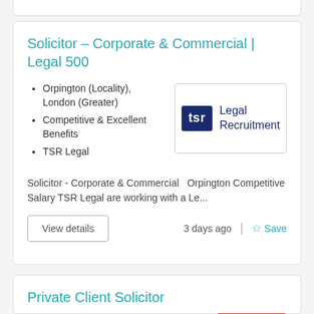Solicitor – Corporate & Commercial | Legal 500
Orpington (Locality), London (Greater)
Competitive & Excellent Benefits
TSR Legal
Solicitor - Corporate & Commercial  Orpington Competitive Salary TSR Legal are working with a Le...
View details
3 days ago
Save
Private Client Solicitor
Orpington